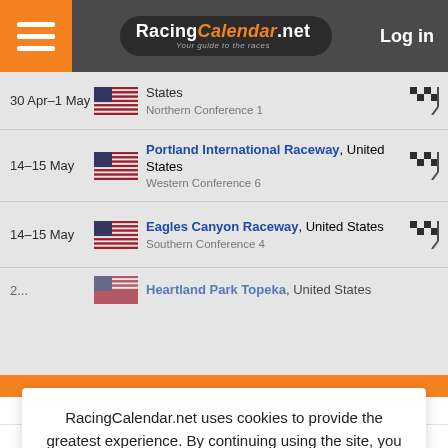RacingCalendar.net — Your guide to the races | Log in
30 Apr–1 May | United States | Northern Conference 1
14–15 May | Portland International Raceway, United States | Western Conference 6
14–15 May | Eagles Canyon Raceway, United States | Southern Conference 4
Heartland Park Topeka, United States (partially visible)
RacingCalendar.net uses cookies to provide the greatest experience. By continuing using the site, you accept that cookies will be saved. Read more about cookies. ACCEPT AND HIDE MESSAGE
incorrect information will be taken. | Cookies